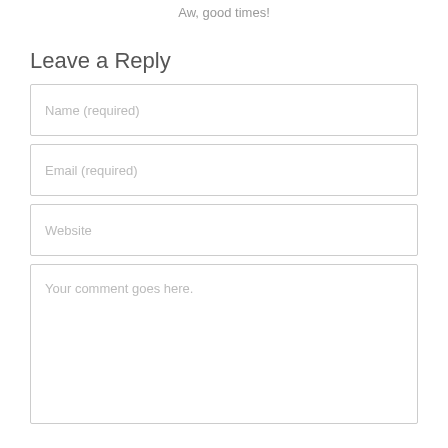Aw, good times!
Leave a Reply
Name (required)
Email (required)
Website
Your comment goes here.